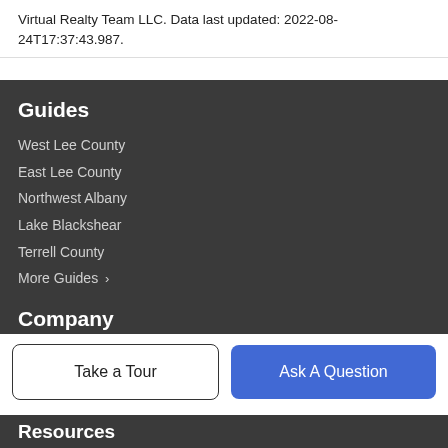Virtual Realty Team LLC. Data last updated: 2022-08-24T17:37:43.987.
Guides
West Lee County
East Lee County
Northwest Albany
Lake Blackshear
Terrell County
More Guides >
Company
Meet The Team
Our Blog
Take a Tour
Ask A Question
Resources